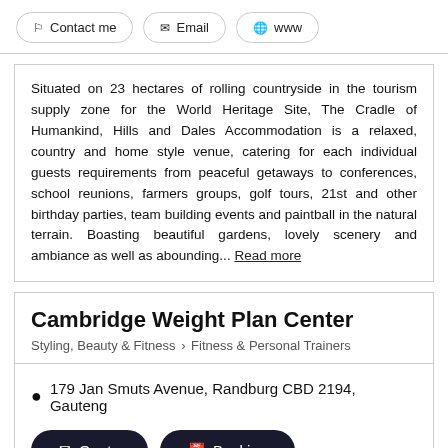Contact me | Email | www
Situated on 23 hectares of rolling countryside in the tourism supply zone for the World Heritage Site, The Cradle of Humankind, Hills and Dales Accommodation is a relaxed, country and home style venue, catering for each individual guests requirements from peaceful getaways to conferences, school reunions, farmers groups, golf tours, 21st and other birthday parties, team building events and paintball in the natural terrain. Boasting beautiful gardens, lovely scenery and ambiance as well as abounding... Read more
Cambridge Weight Plan Center
Styling, Beauty & Fitness > Fitness & Personal Trainers
179 Jan Smuts Avenue, Randburg CBD 2194, Gauteng
Quote | Booking